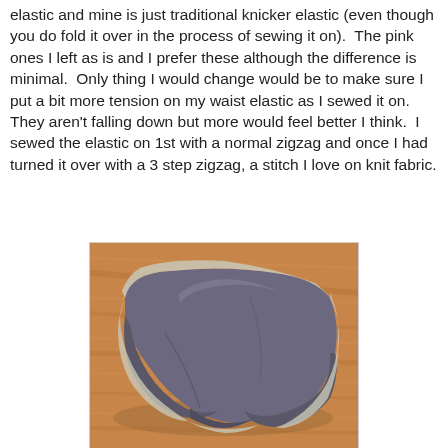elastic and mine is just traditional knicker elastic (even though you do fold it over in the process of sewing it on).  The pink ones I left as is and I prefer these although the difference is minimal.  Only thing I would change would be to make sure I put a bit more tension on my waist elastic as I sewed it on.  They aren't falling down but more would feel better I think.  I sewed the elastic on 1st with a normal zigzag and once I had turned it over with a 3 step zigzag, a stitch I love on knit fabric.
[Figure (photo): A pair of purple/grey handmade knicker underwear with light grey elastic trim around the edges, laid flat on a wooden floor.]